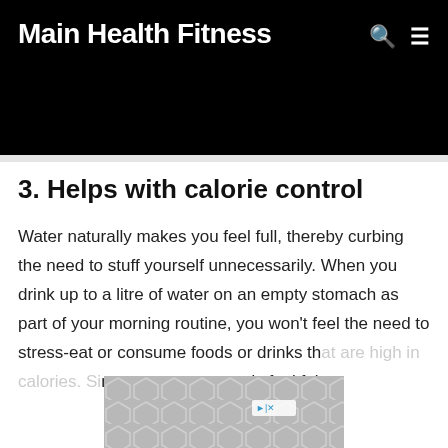Main Health Fitness
3. Helps with calorie control
Water naturally makes you feel full, thereby curbing the need to stuff yourself unnecessarily. When you drink up to a litre of water on an empty stomach as part of your morning routine, you won't feel the need to stress-eat or consume foods or drinks that are high in calories. Since you already feel ful
[Figure (other): Advertisement overlay with hexagonal tile pattern in grey, with small close/skip icons visible]